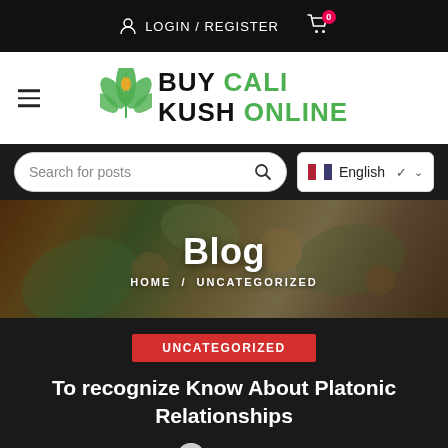LOGIN / REGISTER
[Figure (logo): Buy Cali Kush Online logo with cannabis leaf icon]
Search for posts
English
[Figure (photo): Blog hero image showing cannabis buds, joints, and leaves with text overlay reading Blog and breadcrumb HOME / UNCATEGORIZED]
Blog
HOME / UNCATEGORIZED
UNCATEGORIZED
To recognize Know About Platonic Relationships
Gigexotic